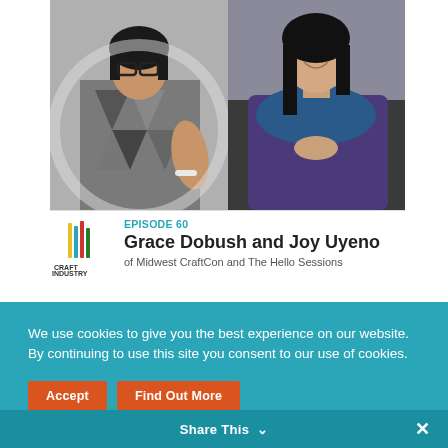[Figure (photo): Two side-by-side photos: left shows a woman with glasses in a geometric print top seated in a chair; right shows a woman with long dark hair smiling, seated with knees up.]
EPISODE 60
Grace Dobush and Joy Uyeno
of Midwest CraftCon and The Hello Sessions
We use cookies to give you the best experience on our website. By continuing to use this site you consent to our use of cookies.
Accept
Find Out More
Share This ∨
✕